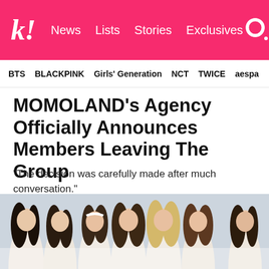k! News Lists Stories Exclusives
BTS  BLACKPINK  Girls' Generation  NCT  TWICE  aespa
MOMOLAND's Agency Officially Announces Members Leaving The Group
“The decision was carefully made after much conversation.”
[Figure (photo): Group photo of MOMOLAND members posing in white outfits against a light background]